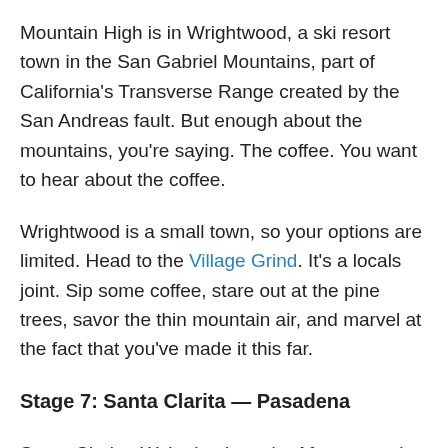Mountain High is in Wrightwood, a ski resort town in the San Gabriel Mountains, part of California's Transverse Range created by the San Andreas fault. But enough about the mountains, you're saying. The coffee. You want to hear about the coffee.
Wrightwood is a small town, so your options are limited. Head to the Village Grind. It's a locals joint. Sip some coffee, stare out at the pine trees, savor the thin mountain air, and marvel at the fact that you've made it this far.
Stage 7: Santa Clarita — Pasadena
Santa Clarita. We're back again. After yesterday, you should have your coffee strategy sorted. Honestly, do we have to help you with everything? Three choices: Peets, Starbucks, Railroad. Pick one, go to the bike race.